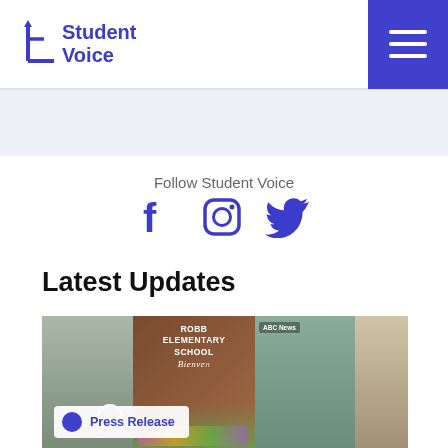Student Voice
Follow Student Voice
[Figure (other): Social media icons: Facebook, Instagram, Twitter in purple/blue color]
Latest Updates
[Figure (photo): Photo collage showing Robb Elementary School memorial with flowers and crosses, people embracing, and other scenes related to a school shooting tragedy]
Press Release